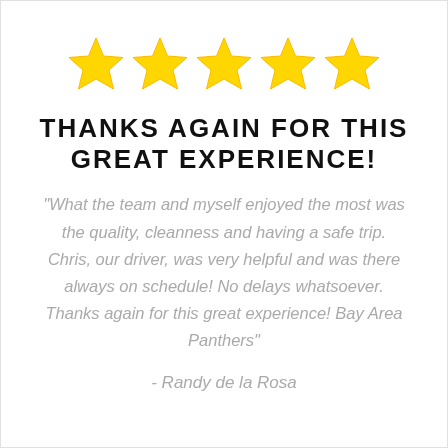[Figure (other): Five gold star rating icons in a horizontal row]
THANKS AGAIN FOR THIS GREAT EXPERIENCE!
"What the team and myself enjoyed the most was the quality, cleanness and having a safe trip. Chris, our driver, was very helpful and was there always on schedule! No delays whatsoever. Thanks again for this great experience! Bay Area Panthers"
- Randy de la Rosa